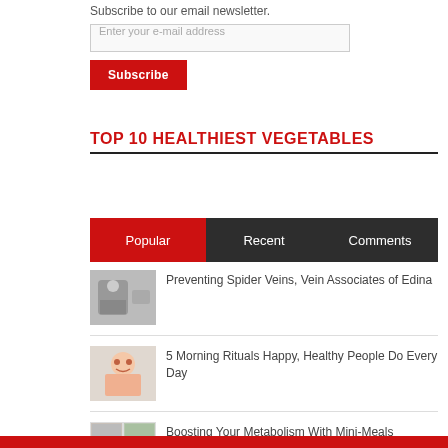Subscribe to our email newsletter.
Enter your e-mail address
Subscribe
TOP 10 HEALTHIEST VEGETABLES
Popular | Recent | Comments
Preventing Spider Veins, Vein Associates of Edina
5 Morning Rituals Happy, Healthy People Do Every Day
Boosting Your Metabolism With Mini-Meals